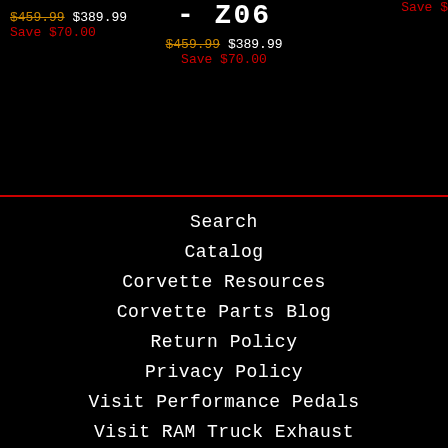$459.99 $389.99 Save $70.00
CAR COVER - Z06
$459.99 $389.99
Save $70.00
Save $
Search
Catalog
Corvette Resources
Corvette Parts Blog
Return Policy
Privacy Policy
Visit Performance Pedals
Visit RAM Truck Exhaust
Home